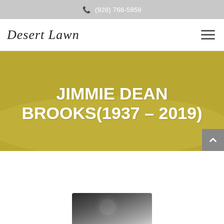(928) 768-5959
[Figure (logo): Desert Lawn funeral home logo in italic serif font]
JIMMIE DEAN BROOKS(1937 – 2019)
[Figure (photo): Black and white photograph partially visible at bottom of page, appears to be a person wearing a hat]